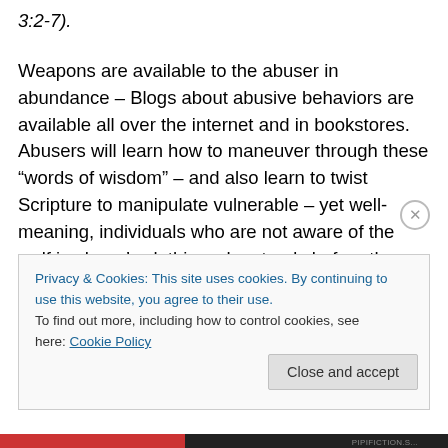3:2-7).
Weapons are available to the abuser in abundance – Blogs about abusive behaviors are available all over the internet and in bookstores. Abusers will learn how to maneuver through these “words of wisdom” – and also learn to twist Scripture to manipulate vulnerable – yet well-meaning, individuals who are not aware of the wolf in sheep’s clothing who stands before them. The Abuser must be treated as the unbeliever that he is. Crippen states, “We are fools when we want to pet and stroke a
Privacy & Cookies: This site uses cookies. By continuing to use this website, you agree to their use.
To find out more, including how to control cookies, see here: Cookie Policy